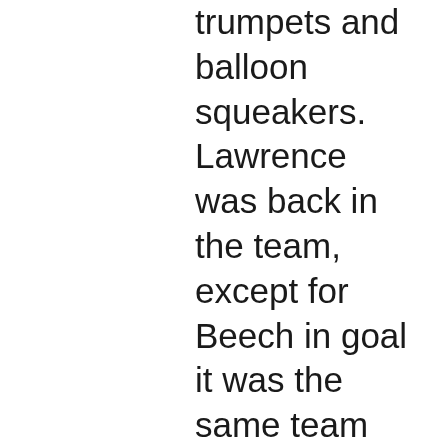trumpets and balloon squeakers. Lawrence was back in the team, except for Beech in goal it was the same team that had won the trophy the year before.  Walsall were 0-2 down at half-time but when Gilbert pulled one back with a back-hander it seemed the team was about to stage one of the revival- for which it was famo It was not to be.